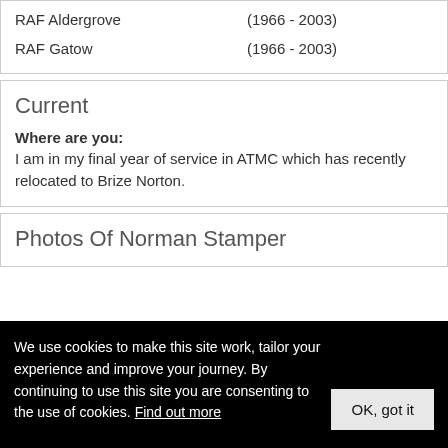| RAF Aldergrove | (1966 - 2003) |
| RAF Gatow | (1966 - 2003) |
Current
Where are you:
I am in my final year of service in ATMC which has recently relocated to Brize Norton.
Photos Of Norman Stamper
We use cookies to make this site work, tailor your experience and improve your journey. By continuing to use this site you are consenting to the use of cookies. Find out more
OK, got it